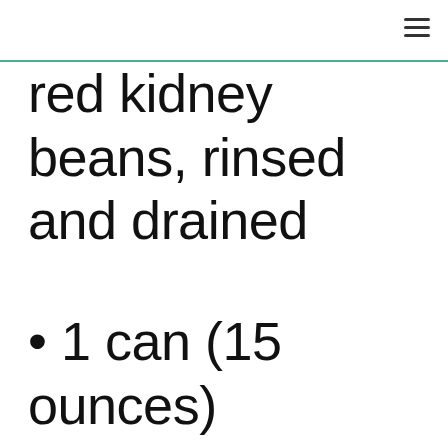red kidney beans, rinsed and drained
1 can (15 ounces) cannellini beans, rinsed and drained